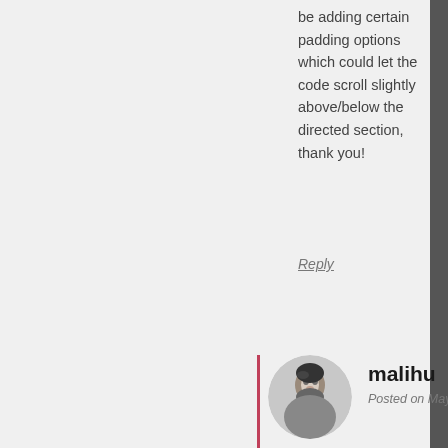be adding certain padding options which could let the code scroll slightly above/below the directed section, thank you!
Reply
[Figure (photo): Circular avatar photo of a bearded man in black and white]
malihu
Posted on May 20, 2022 at 02:5.
Hi,
Depending on the layout and be able to do what you need margin and an equal positive
#section-1{
    margin-top: -100p›
    padding-top: 100p›
}